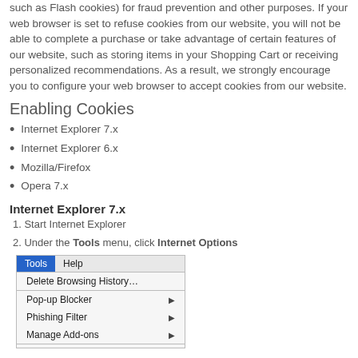such as Flash cookies) for fraud prevention and other purposes. If your web browser is set to refuse cookies from our website, you will not be able to complete a purchase or take advantage of certain features of our website, such as storing items in your Shopping Cart or receiving personalized recommendations. As a result, we strongly encourage you to configure your web browser to accept cookies from our website.
Enabling Cookies
Internet Explorer 7.x
Internet Explorer 6.x
Mozilla/Firefox
Opera 7.x
Internet Explorer 7.x
1. Start Internet Explorer
2. Under the Tools menu, click Internet Options
[Figure (screenshot): Screenshot of Internet Explorer Tools menu showing: Tools (active, blue), Help, Delete Browsing History..., Pop-up Blocker (with arrow), Phishing Filter (with arrow), Manage Add-ons (with arrow)]